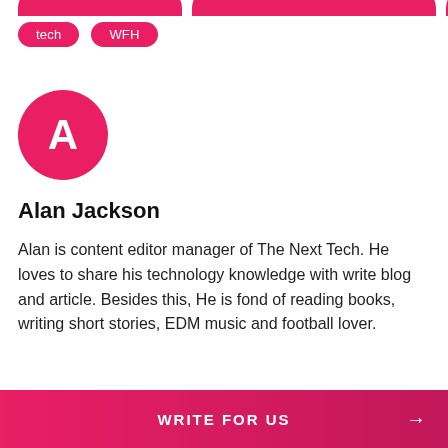[Figure (other): Partially cropped pink/red pill-shaped category tags at top of page]
tech
WFH
[Figure (other): Pink circle avatar with white letter A]
Alan Jackson
Alan is content editor manager of The Next Tech. He loves to share his technology knowledge with write blog and article. Besides this, He is fond of reading books, writing short stories, EDM music and football lover.
WRITE FOR US →